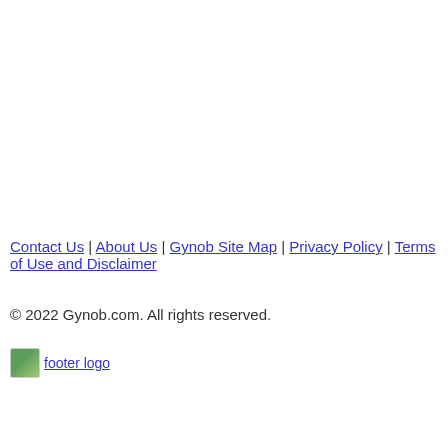Contact Us | About Us | Gynob Site Map | Privacy Policy | Terms of Use and Disclaimer
© 2022 Gynob.com. All rights reserved.
[Figure (logo): Footer logo image for Gynob.com]